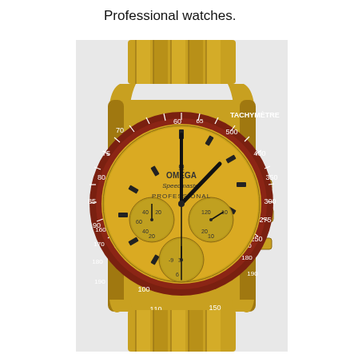Professional watches.
[Figure (photo): A gold Omega Speedmaster Professional chronograph watch with a dark red/brown tachymetre bezel, champagne/gold dial with three sub-dials, black hands, gold bracelet. The bezel shows TACHYMETRE markings from 60 to 500. The dial reads OMEGA Speedmaster PROFESSIONAL.]